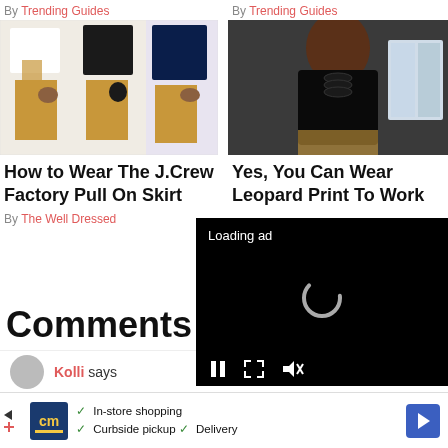By Trending Guides
[Figure (photo): Three outfit collages featuring women in mustard pull-on skirts with various tops and accessories]
By Trending Guides
[Figure (photo): Woman in black ruffled blouse and leopard print skirt]
How to Wear The J.Crew Factory Pull On Skirt
Yes, You Can Wear Leopard Print To Work
By The Well Dressed
Comments
[Figure (screenshot): Video ad overlay with Loading ad text, spinner, pause button, resize button, and mute button on black background]
Kolli says
[Figure (screenshot): Bottom banner advertisement for a store with cm logo, checkmarks for In-store shopping, Curbside pickup, Delivery, and a blue direction arrow]